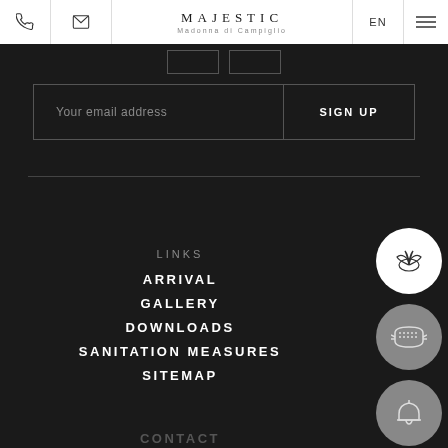MAJESTIC Madonna di Campiglio | EN
Your email address
SIGN UP
LINKS
ARRIVAL
GALLERY
DOWNLOADS
SANITATION MEASURES
SITEMAP
CONTACT